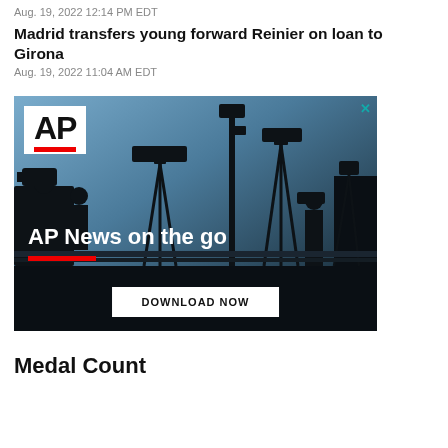Aug. 19, 2022 12:14 PM EDT
Madrid transfers young forward Reinier on loan to Girona
Aug. 19, 2022 11:04 AM EDT
[Figure (photo): AP News advertisement showing silhouettes of camera operators and journalists against a blue sky background, with AP logo, tagline 'AP News on the go', red accent bar, and a 'DOWNLOAD NOW' button. A close (X) button appears top right.]
Medal Count